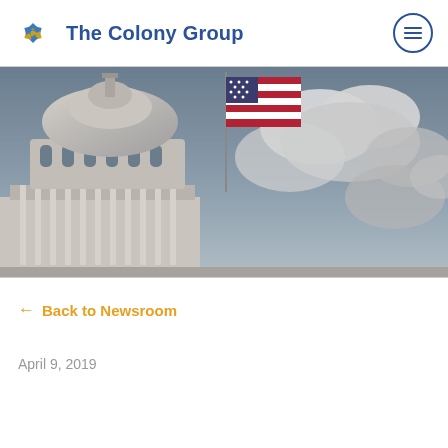The Colony Group
[Figure (photo): Photo of the US Capitol building dome with an American flag flying against a dramatic cloudy sky]
← Back to Newsroom
April 9, 2019